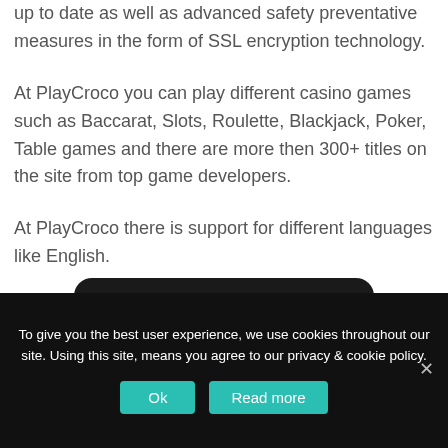up to date as well as advanced safety preventative measures in the form of SSL encryption technology.
At PlayCroco you can play different casino games such as Baccarat, Slots, Roulette, Blackjack, Poker, Table games and there are more then 300+ titles on the site from top game developers.
At PlayCroco there is support for different languages like English.
[Figure (illustration): Dark rounded rectangle widget with a teal/green bar inside a white-bordered inner frame, with black bump shapes on left and right sides]
To give you the best user experience, we use cookies throughout our site. Using this site, means you agree to our privacy & cookie policy.